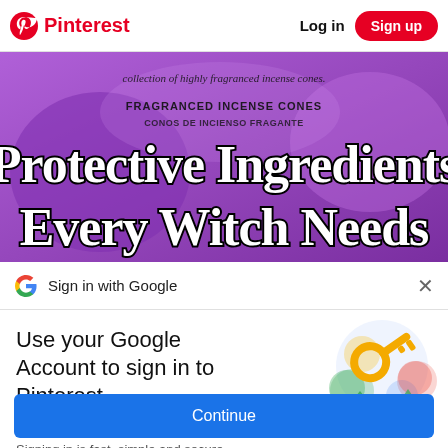Pinterest   Log in   Sign up
[Figure (photo): Purple-background image with incense cones product packaging. Text overlay reads 'Protective Ingredients Every Witch Needs' in large white bold gothic font with black outline. Smaller text above reads '...collection of highly fragranced incense cones.' and 'FRAGRANCED INCENSE CONES'.]
Sign in with Google
Use your Google Account to sign in to Pinterest
No more passwords to remember. Signing in is fast, simple and secure.
[Figure (illustration): Google sign-in key illustration with colorful circles and a golden key]
Continue